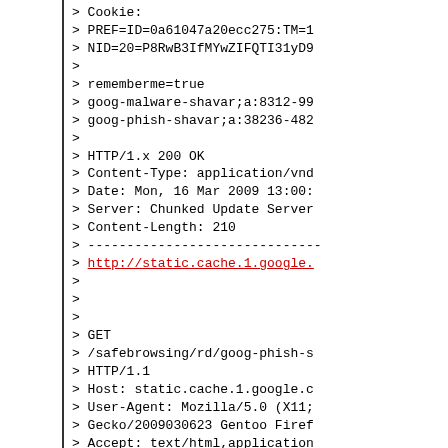> Cookie:
> PREF=ID=0a61047a20ecc275:TM=1
> NID=20=P8RwB3IfMYwZIFQTI31yD9
>
> rememberme=true
> goog-malware-shavar;a:8312-99
> goog-phish-shavar;a:38236-482
>
> HTTP/1.x 200 OK
> Content-Type: application/vnd
> Date: Mon, 16 Mar 2009 13:00:
> Server: Chunked Update Server
> Content-Length: 210
> ------------------------------
> http://static.cache.1.google.
>
>
>
> GET
> /safebrowsing/rd/goog-phish-s
> HTTP/1.1
> Host: static.cache.1.google.c
> User-Agent: Mozilla/5.0 (X11;
> Gecko/2009030623 Gentoo Firef
> Accept: text/html,application
> Accept-Language: ru,en-us;q=0
> Accept-Encoding: gzip,deflate
> Accept-Charset: UTF-8,*
> Keep-Alive: 300
> Connection: keep-alive